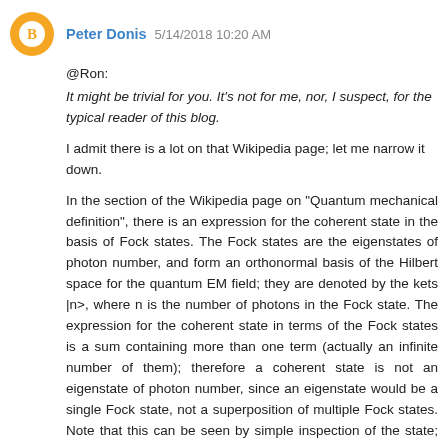Peter Donis  5/14/2018 10:20 AM
@Ron:
It might be trivial for you. It's not for me, nor, I suspect, for the typical reader of this blog.
I admit there is a lot on that Wikipedia page; let me narrow it down.
In the section of the Wikipedia page on "Quantum mechanical definition", there is an expression for the coherent state in the basis of Fock states. The Fock states are the eigenstates of photon number, and form an orthonormal basis of the Hilbert space for the quantum EM field; they are denoted by the kets |n>, where n is the number of photons in the Fock state. The expression for the coherent state in terms of the Fock states is a sum containing more than one term (actually an infinite number of them); therefore a coherent state is not an eigenstate of photon number, since an eigenstate would be a single Fock state, not a superposition of multiple Fock states. Note that this can be seen by simple inspection of the state; no